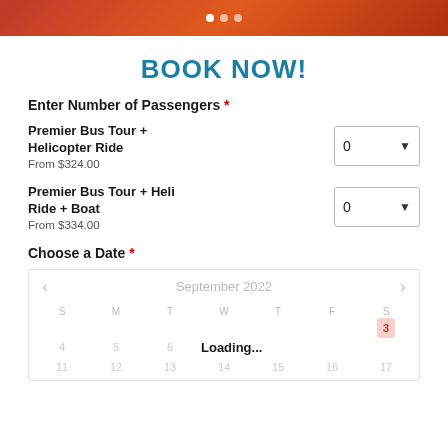[Figure (other): Orange-red gradient header banner with navigation dots (carousel indicator)]
BOOK NOW!
Enter Number of Passengers *
Premier Bus Tour + Helicopter Ride
From $324.00
[dropdown: 0]
Premier Bus Tour + Heli Ride + Boat
From $334.00
[dropdown: 0]
Choose a Date *
[Figure (other): Calendar widget showing September 2022. Day headers: S M T W T F S. Row 1: blank cells, date 3 highlighted in red/pink. Row 2: 4 5 6 7 8 9 10 with Loading... overlay. Row 3: 11 12 13 14 15 16 17]